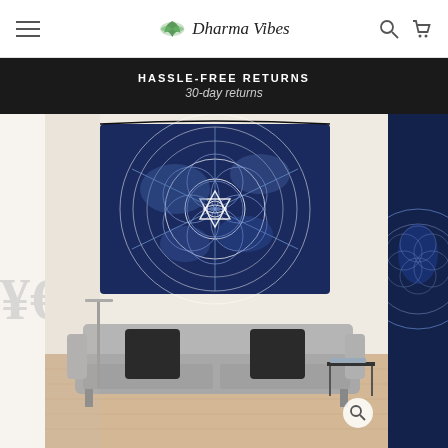Dharma Vibes
HASSLE-FREE RETURNS
30-day returns
[Figure (photo): E-commerce product page showing a blue sacred geometry / flower of life mandala tapestry hung on a white wall above a gray sofa with dark cushions. A partially visible right-side image strip and a partial decorative page-turn graphic on the left.]